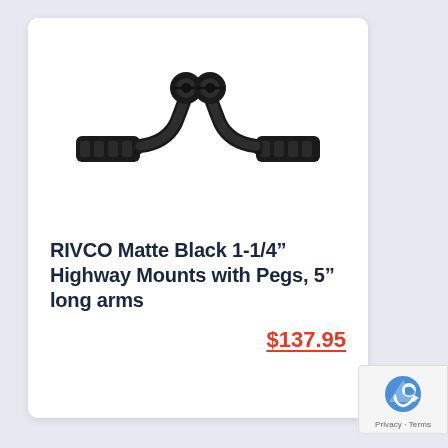[Figure (photo): A pair of RIVCO matte black motorcycle highway mounts with pegs and 5-inch long arms, shown as a symmetrical pair on a white background.]
RIVCO Matte Black 1-1/4” Highway Mounts with Pegs, 5” long arms
$137.95